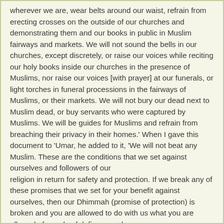wherever we are, wear belts around our waist, refrain from erecting crosses on the outside of our churches and demonstrating them and our books in public in Muslim fairways and markets. We will not sound the bells in our churches, except discretely, or raise our voices while reciting our holy books inside our churches in the presence of Muslims, nor raise our voices [with prayer] at our funerals, or light torches in funeral processions in the fairways of Muslims, or their markets. We will not bury our dead next to Muslim dead, or buy servants who were captured by Muslims. We will be guides for Muslims and refrain from breaching their privacy in their homes.' When I gave this document to 'Umar, he added to it, 'We will not beat any Muslim. These are the conditions that we set against ourselves and followers of our religion in return for safety and protection. If we break any of these promises that we set for your benefit against ourselves, then our Dhimmah (promise of protection) is broken and you are allowed to do with us what you are allowed of people of defiance and